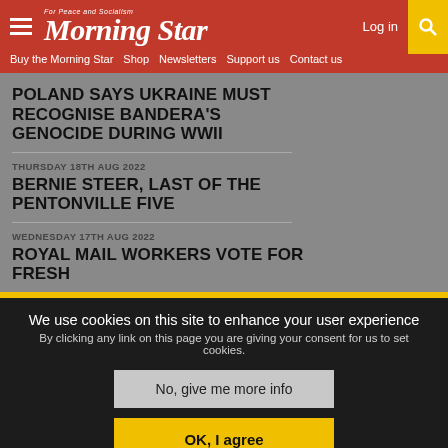Morning Star - For Peace and Socialism
Log in
Buy the Morning Star | Shop | Newsletters | Support us | Contact us
POLAND SAYS UKRAINE MUST RECOGNISE BANDERA'S GENOCIDE DURING WWII
THURSDAY 18TH AUG 2022
BERNIE STEER, LAST OF THE PENTONVILLE FIVE
WEDNESDAY 17TH AUG 2022
ROYAL MAIL WORKERS VOTE FOR FRESH
We use cookies on this site to enhance your user experience By clicking any link on this page you are giving your consent for us to set cookies.
No, give me more info
OK, I agree